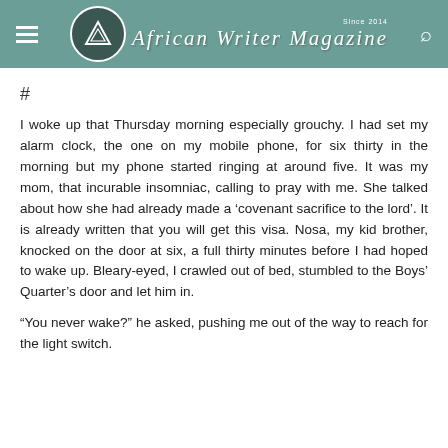African Writer Magazine — Since 2014
#
I woke up that Thursday morning especially grouchy. I had set my alarm clock, the one on my mobile phone, for six thirty in the morning but my phone started ringing at around five. It was my mom, that incurable insomniac, calling to pray with me. She talked about how she had already made a ‘covenant sacrifice to the lord’. It is already written that you will get this visa. Nosa, my kid brother, knocked on the door at six, a full thirty minutes before I had hoped to wake up. Bleary-eyed, I crawled out of bed, stumbled to the Boys’ Quarter’s door and let him in.
“You never wake?” he asked, pushing me out of the way to reach for the light switch.